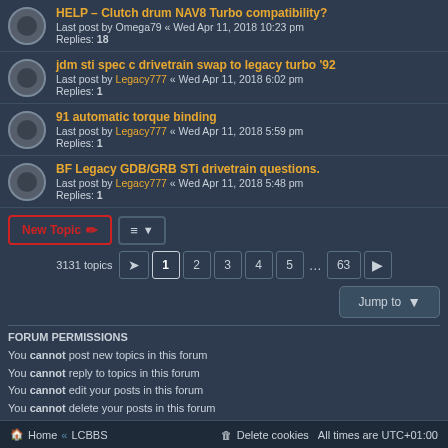jdm sti spec c drivetrain swap to legacy turbo '92 — Last post by Legacy777 « Wed Apr 11, 2018 6:02 pm — Replies: 1
91 automatic torque binding — Last post by Legacy777 « Wed Apr 11, 2018 5:59 pm — Replies: 1
BF Legacy GDB/GRB STi drivetrain questions. — Last post by Legacy777 « Wed Apr 11, 2018 5:48 pm — Replies: 1
3131 topics  1 2 3 4 5 … 63
Jump to
FORUM PERMISSIONS
You cannot post new topics in this forum
You cannot reply to topics in this forum
You cannot edit your posts in this forum
You cannot delete your posts in this forum
Home « LCBBS    Delete cookies    All times are UTC+01:00